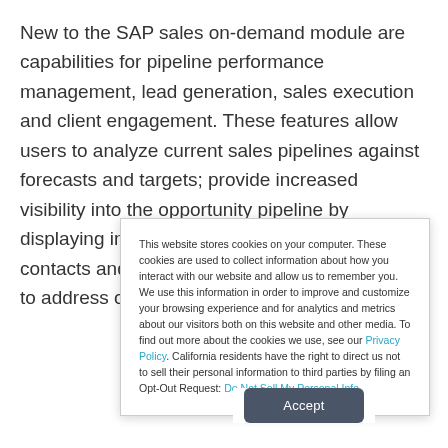New to the SAP sales on-demand module are capabilities for pipeline performance management, lead generation, sales execution and client engagement. These features allow users to analyze current sales pipelines against forecasts and targets; provide increased visibility into the opportunity pipeline by displaying information about recent activities, contacts and competitors; and can trigger action to address outstanding
This website stores cookies on your computer. These cookies are used to collect information about how you interact with our website and allow us to remember you. We use this information in order to improve and customize your browsing experience and for analytics and metrics about our visitors both on this website and other media. To find out more about the cookies we use, see our Privacy Policy. California residents have the right to direct us not to sell their personal information to third parties by filing an Opt-Out Request: Do Not Sell My Personal Info.
Accept